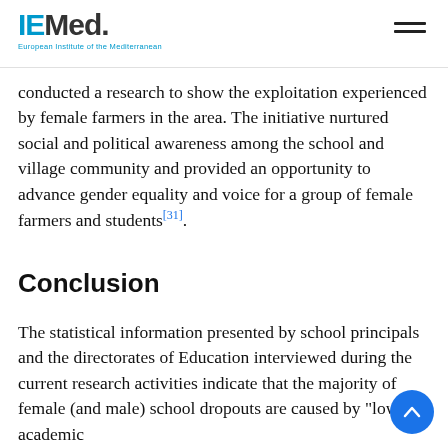IEMed. European Institute of the Mediterranean
conducted a research to show the exploitation experienced by female farmers in the area. The initiative nurtured social and political awareness among the school and village community and provided an opportunity to advance gender equality and voice for a group of female farmers and students[31].
Conclusion
The statistical information presented by school principals and the directorates of Education interviewed during the current research activities indicate that the majority of female (and male) school dropouts are caused by "low academic